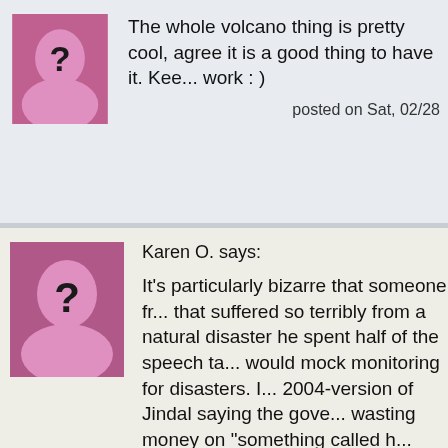The whole volcano thing is pretty cool, agree it is a good thing to have it. Keep up the work : )
posted on Sat, 02/28
Karen O. says:
It's particularly bizarre that someone fr... that suffered so terribly from a natural disaster he spent half of the speech ta... would mock monitoring for disasters. I... 2004-version of Jindal saying the gove... wasting money on "something called h... monitoring." Who knows how many mo... have died if there hadn't been forewar...